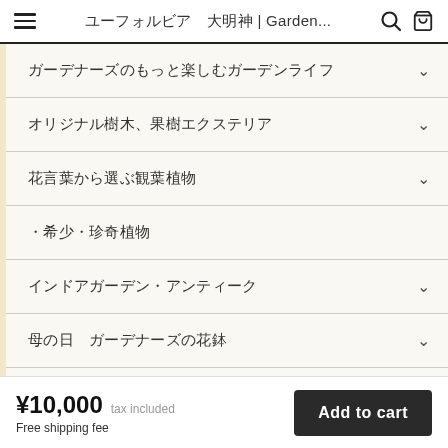ユーフォルビア　大明神 | Garden...
ガーデナーズのもっと楽しむガーデンライフ
オリジナル樹木、果樹エクステリア
花言葉から選ぶ観葉植物
・希少・珍奇植物
インドアガーデン・アンティーク
母の日　ガーデナーズの花鉢
十を伝わたい水耕栽培
¥10,000 tax included
Free shipping fee
Add to cart